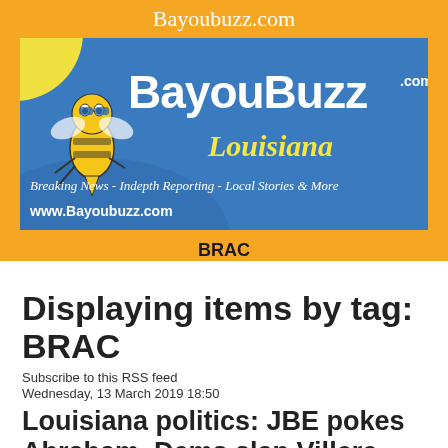Bayoubuzz.com
[Figure (logo): BayouBuzz.com Louisiana logo banner with bee mascot. Blue background with yellow sun in top-left corner, cartoon bee, large white BayouBuzz.com text, yellow italic Louisiana text, tagline 'Breaking News - Indepth Reporting - Local Stories & More', and www.Bayoubuzz.com URL.]
BRAC
Displaying items by tag: BRAC
Subscribe to this RSS feed
Wednesday, 13 March 2019 18:50
Louisiana politics: JBE pokes Abraham, Dems slap Villere, BRAC, Infant rights